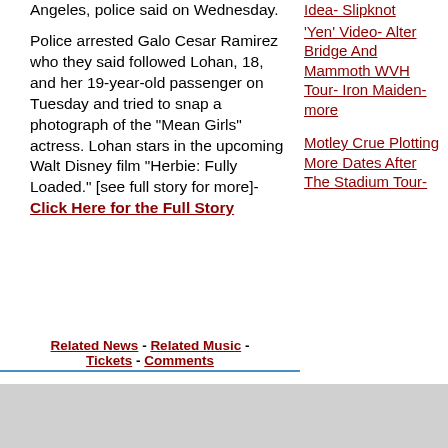Angeles, police said on Wednesday.
Police arrested Galo Cesar Ramirez who they said followed Lohan, 18, and her 19-year-old passenger on Tuesday and tried to snap a photograph of the "Mean Girls" actress. Lohan stars in the upcoming Walt Disney film "Herbie: Fully Loaded." [see full story for more]- Click Here for the Full Story
Idea- Slipknot
'Yen' Video- Alter Bridge And Mammoth WVH Tour- Iron Maiden- more
Motley Crue Plotting More Dates After The Stadium Tour-
Related News - Related Music - Tickets - Comments